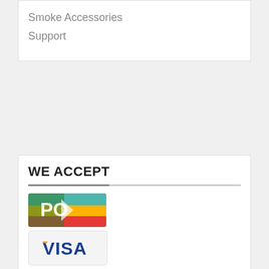Smoke Accessories
Support
WE ACCEPT
[Figure (logo): PO (Purchase Order) payment logo with colorful design]
[Figure (logo): Visa payment logo on light gray background]
[Figure (logo): MasterCard payment logo on blue gradient background]
[Figure (logo): American Express payment logo on blue gradient background]
[Figure (logo): Discover Network payment logo on light background]